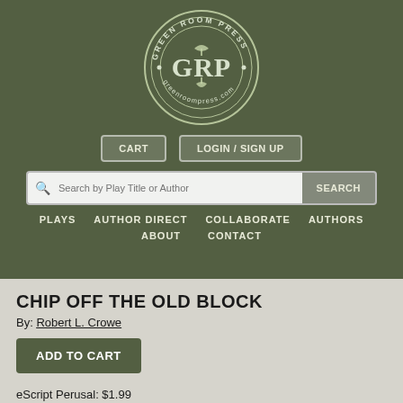[Figure (logo): Green Room Press circular logo with GRP initials and greenroompress.com text]
CART    LOGIN / SIGN UP
Search by Play Title or Author    SEARCH
PLAYS   AUTHOR DIRECT   COLLABORATE   AUTHORS   ABOUT   CONTACT
CHIP OFF THE OLD BLOCK
By: Robert L. Crowe
ADD TO CART
eScript Perusal: $1.99
(For perusal, no performance rights conveyed.)